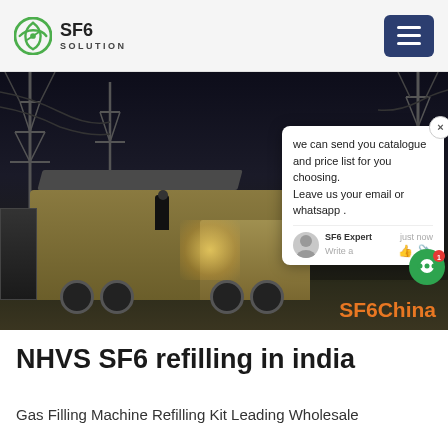SF6 SOLUTION
[Figure (photo): Night-time photo of SF6 gas refilling trucks/vehicles with equipment at an electrical substation. High-voltage transmission towers visible in background. A chat popup overlay is visible on the right side with text: 'we can send you catalogue and price list for you choosing. Leave us your email or whatsapp .' attributed to 'SF6 Expert' with timestamp 'just now'. SF6China watermark in orange at bottom right.]
NHVS SF6 refilling in india
Gas Filling Machine Refilling Kit Leading Wholesale